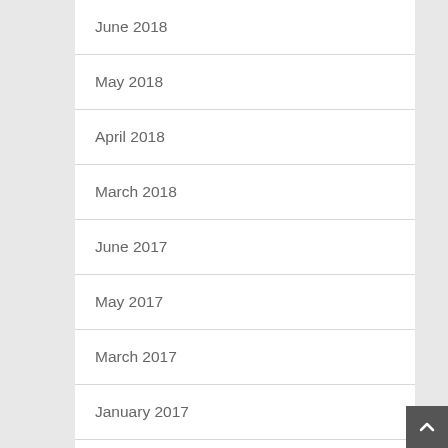June 2018
May 2018
April 2018
March 2018
June 2017
May 2017
March 2017
January 2017
July 2015